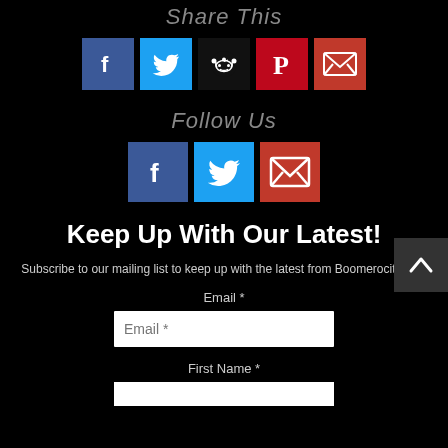Share This
[Figure (infographic): Row of 5 social sharing icons: Facebook (blue), Twitter (light blue), Reddit (black), Pinterest (red), Email (red)]
Follow Us
[Figure (infographic): Row of 3 social follow icons: Facebook (blue), Twitter (light blue), Email (red)]
Keep Up With Our Latest!
Subscribe to our mailing list to keep up with the latest from Boomerocity.com
Email *
First Name *